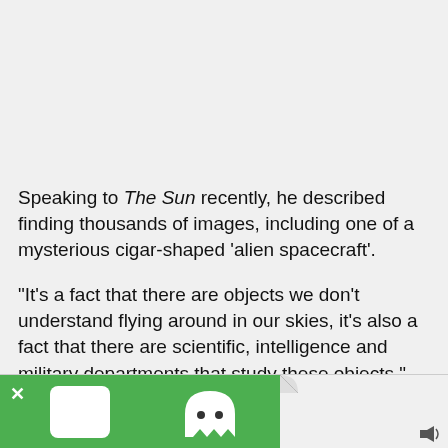Speaking to The Sun recently, he described finding thousands of images, including one of a mysterious cigar-shaped 'alien spacecraft'.
"It's a fact that there are objects we don't understand flying around in our skies, it's also a fact that there are scientific, intelligence and military departments that study these objects," he said.
"I was absolutely gobsmacked and those folders had thousands more images."
[Figure (other): Advertisement banner for GhostBed with green background, ghost icon, and 'TAP TO EXPLORE' text]